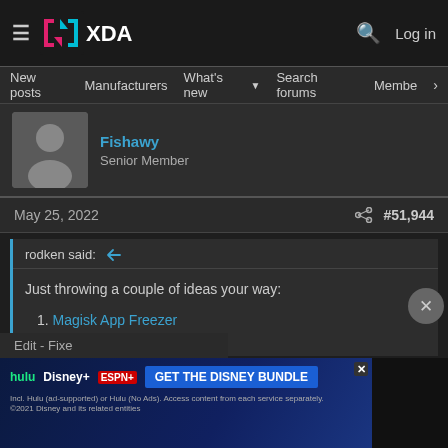XDA Forums — Log in
New posts  Manufacturers  What's new  Search forums  Members
Fishawy
Senior Member
May 25, 2022  #51,944
rodken said:
Just throwing a couple of ideas your way:
1. Magisk App Freezer
2. Shamiko
Edit - Fixe
[Figure (other): Hulu Disney+ ESPN+ advertisement banner: GET THE DISNEY BUNDLE]